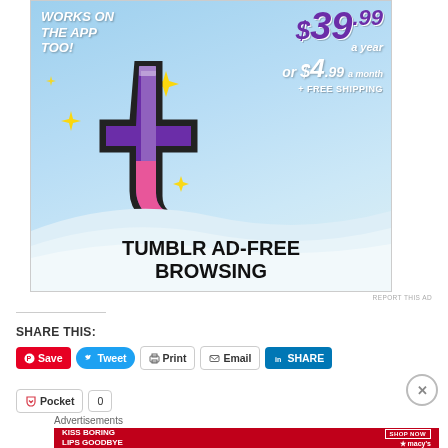[Figure (infographic): Tumblr Ad-Free Browsing advertisement banner. Sky blue background with Tumblr 't' logo, sparkle stars, pricing '$39.99 a year or $4.99 a month + FREE SHIPPING', text 'WORKS ON THE APP TOO!', and bottom text 'TUMBLR AD-FREE BROWSING'.]
REPORT THIS AD
SHARE THIS:
Save | Tweet | Print | Email | SHARE | Pocket | 0
Advertisements
[Figure (infographic): Macy's advertisement: 'KISS BORING LIPS GOODBYE' with woman's lips and 'SHOP NOW' button with Macy's star logo on red background.]